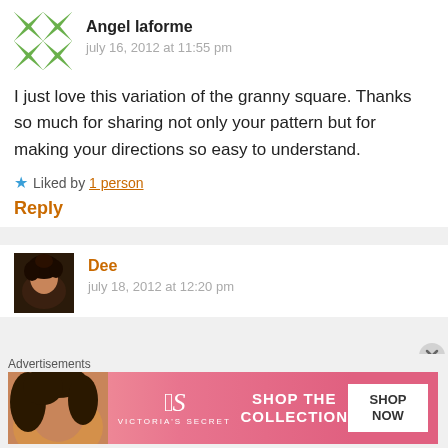[Figure (illustration): Green and white geometric avatar icon with diamond/chevron pattern for Angel laforme]
Angel laforme
july 16, 2012 at 11:55 pm
I just love this variation of the granny square. Thanks so much for sharing not only your pattern but for making your directions so easy to understand.
Liked by 1 person
Reply
[Figure (photo): Profile photo of Dee — woman with dark updo hairstyle]
Dee
july 18, 2012 at 12:20 pm
Advertisements
[Figure (other): Victoria's Secret advertisement banner: Shop The Collection, Shop Now button]